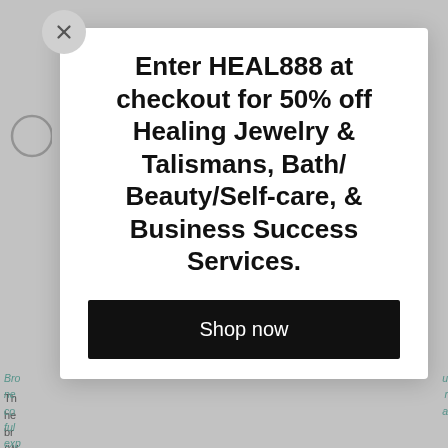[Figure (screenshot): Modal popup overlay on a webpage with promotional message and shop now button]
Enter HEAL888 at checkout for 50% off Healing Jewelry & Talismans, Bath/ Beauty/Self-care, & Business Success Services.
Shop now